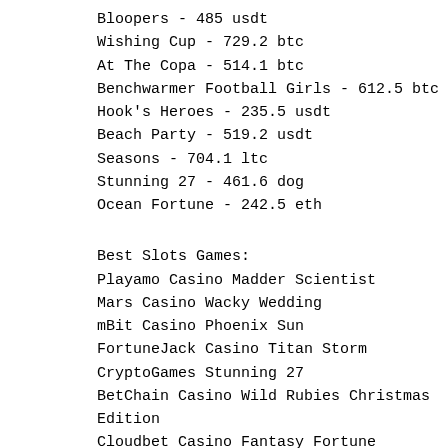Bloopers - 485 usdt
Wishing Cup - 729.2 btc
At The Copa - 514.1 btc
Benchwarmer Football Girls - 612.5 btc
Hook's Heroes - 235.5 usdt
Beach Party - 519.2 usdt
Seasons - 704.1 ltc
Stunning 27 - 461.6 dog
Ocean Fortune - 242.5 eth
Best Slots Games:
Playamo Casino Madder Scientist
Mars Casino Wacky Wedding
mBit Casino Phoenix Sun
FortuneJack Casino Titan Storm
CryptoGames Stunning 27
BetChain Casino Wild Rubies Christmas Edition
Cloudbet Casino Fantasy Fortune
1xBit Casino Daring Dave